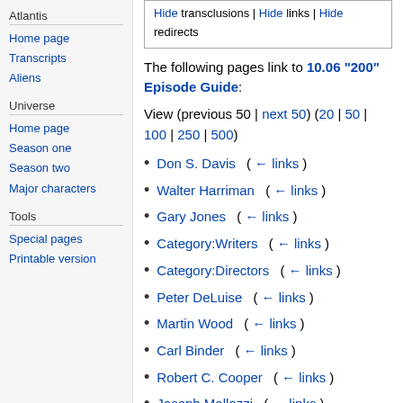Atlantis
Home page
Transcripts
Aliens
Universe
Home page
Season one
Season two
Major characters
Tools
Special pages
Printable version
Hide transclusions | Hide links | Hide redirects
The following pages link to 10.06 "200" Episode Guide:
View (previous 50 | next 50) (20 | 50 | 100 | 250 | 500)
Don S. Davis  (← links)
Walter Harriman  (← links)
Gary Jones  (← links)
Category:Writers  (← links)
Category:Directors  (← links)
Peter DeLuise  (← links)
Martin Wood  (← links)
Carl Binder  (← links)
Robert C. Cooper  (← links)
Joseph Mallozzi  (← links)
Paul Mullie  (← links)
Brad Wright  (← links)